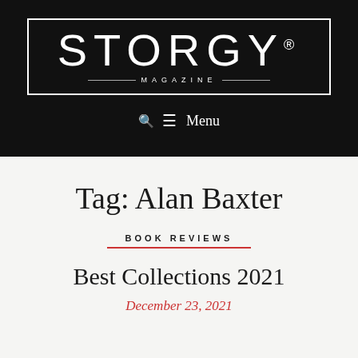[Figure (logo): STORGY Magazine logo — white text on black background with registration mark, bordered box, and 'MAGAZINE' subtitle with decorative lines]
☰ Menu
Tag: Alan Baxter
BOOK REVIEWS
Best Collections 2021
December 23, 2021